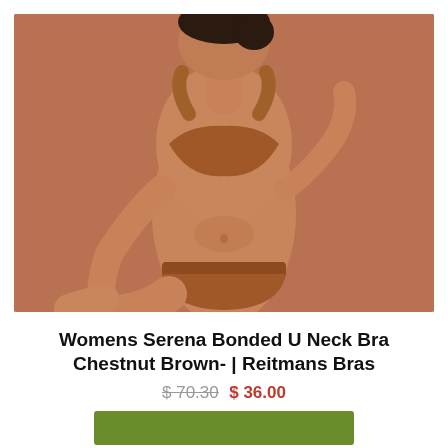[Figure (photo): A woman wearing a chestnut brown seamless bralette and matching bikini underwear, posed against a warm brown background, sitting with her arms resting on her knees.]
Womens Serena Bonded U Neck Bra Chestnut Brown- | Reitmans Bras
$ 70.30 $ 36.00